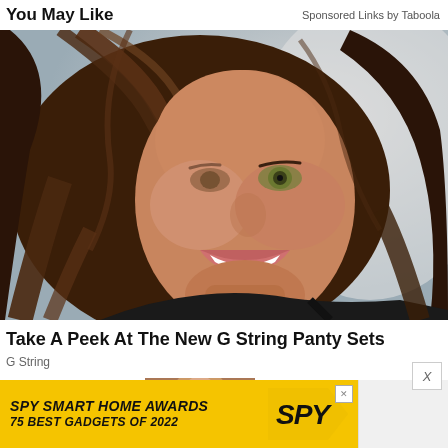You May Like
Sponsored Links by Taboola
[Figure (photo): Smiling brunette woman with hair blowing across her face, wearing a black top, against a light grey background]
Take A Peek At The New G String Panty Sets
G String
[Figure (photo): Partially visible second advertisement image at bottom]
[Figure (infographic): SPY Smart Home Awards advertisement banner: yellow background with text 'SPY SMART HOME AWARDS 75 BEST GADGETS OF 2022' and SPY logo]